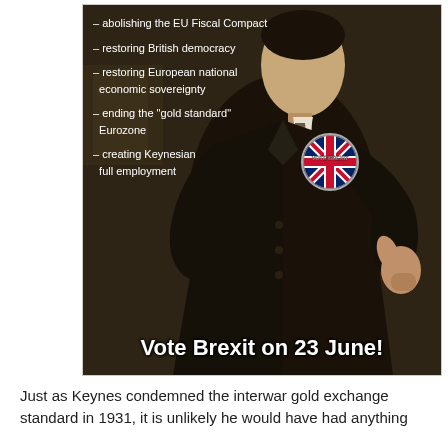[Figure (photo): Vintage black-and-white/sepia photograph of a man in a dark suit giving a thumbs-up. Overlaid with a 'VOTE BREXIT' badge (Union Jack circular button) and a list of bullet points. Large bold text at the bottom reads 'Vote Brexit on 23 June!']
– abolishing the EU Fiscal Compact
– restoring British democracy
– restoring European national economic sovereignty
– ending the "gold standard" Eurozone
– creating Keynesian full employment
Just as Keynes condemned the interwar gold exchange standard in 1931, it is unlikely he would have had anything